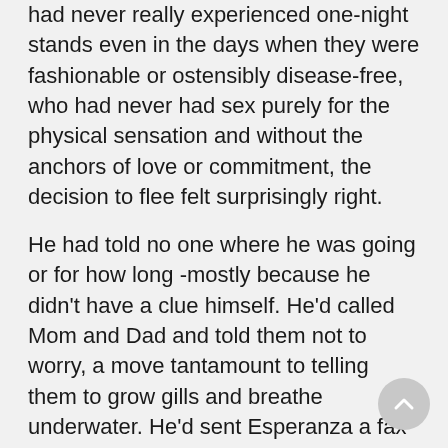had never really experienced one-night stands even in the days when they were fashionable or ostensibly disease-free, who had never had sex purely for the physical sensation and without the anchors of love or commitment, the decision to flee felt surprisingly right.
He had told no one where he was going or for how long -mostly because he didn't have a clue himself. He'd called Mom and Dad and told them not to worry, a move tantamount to telling them to grow gills and breathe underwater. He'd sent Esperanza a fax and gave her power of attorney over MB SportsReps, the sports agency they now partnered. He had not even called Win.